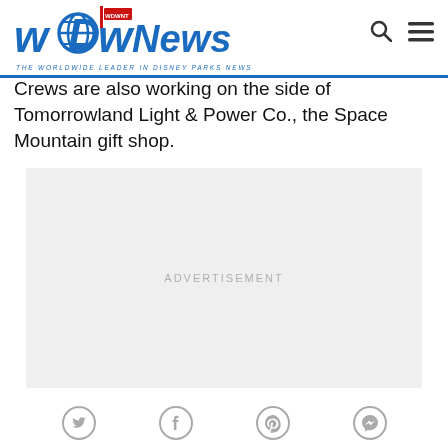WDW News Today — THE WORLDWIDE LEADER IN DISNEY PARKS NEWS
Crews are also working on the side of Tomorrowland Light & Power Co., the Space Mountain gift shop.
[Figure (other): Advertisement placeholder block with light gray background and 'ADVERTISEMENT' text centered]
[Figure (other): Social media share icons bar: Twitter, Facebook, Pinterest, Messenger]